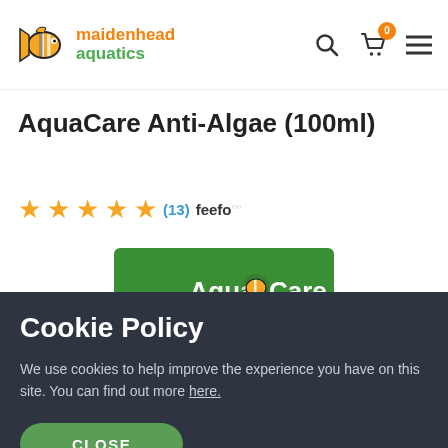maidenhead aquatics
AquaCare Anti-Algae (100ml)
★★★★★ (13) feefo
[Figure (photo): AquaCare product box with green branding and clownfish logo]
Cookie Policy
We use cookies to help improve the experience you have on this site. You can find out more here.
CLOSE